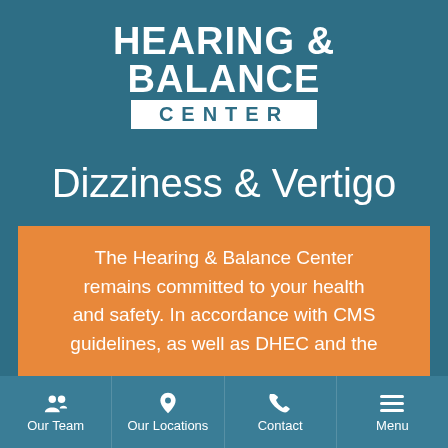[Figure (logo): Hearing & Balance Center logo with white text on teal background and CENTER in white box]
Dizziness & Vertigo
The Hearing & Balance Center remains committed to your health and safety. In accordance with CMS guidelines, as well as DHEC and the
Our Team | Our Locations | Contact | Menu